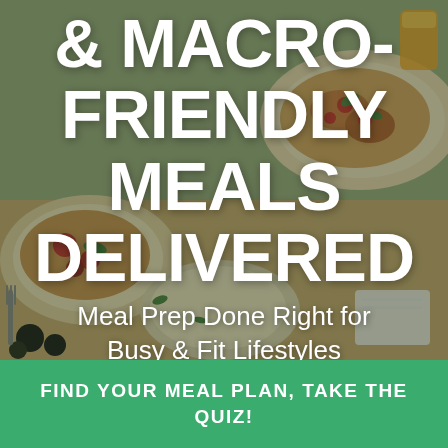[Figure (photo): Background photo of food spread on a table: flatbreads/pizzas with toppings, plates, cutlery, a glass of orange juice, olives. Dark green overlay applied.]
& MACRO-FRIENDLY MEALS DELIVERED
Meal Prep Done Right for Busy & Fit Lifestyles
FIND YOUR MEAL PLAN, TAKE THE QUIZ!